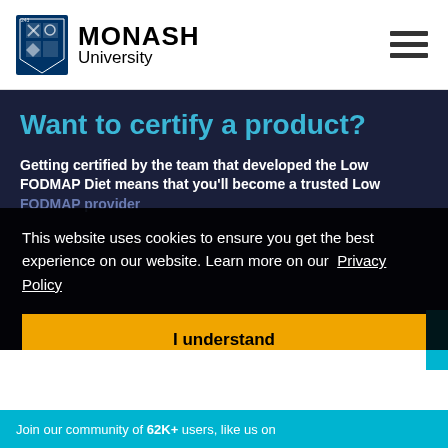[Figure (logo): Monash University logo with shield and text]
Want to certify a product?
Getting certified by the team that developed the Low FODMAP Diet means that you'll become a trusted Low FODMAP provider
This website uses cookies to ensure you get the best experience on our website. Learn more on our Privacy Policy
I understand
Join our community of 62K+ users, like us on